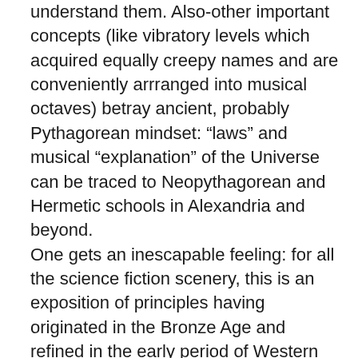understand them. Also-other important concepts (like vibratory levels which acquired equally creepy names and are conveniently arrranged into musical octaves) betray ancient, probably Pythagorean mindset: “laws” and musical “explanation” of the Universe can be traced to Neopythagorean and Hermetic schools in Alexandria and beyond. One gets an inescapable feeling: for all the science fiction scenery, this is an exposition of principles having originated in the Bronze Age and refined in the early period of Western civilization. No doubt that Ouspensky, with his quasischolarly and didactic approach (and esoterica galore) is a much more visible influence. b) although GIG was evidently heavily influenced by Rosicrucian ideas, he behaved towards them as an “original eclectic”. He introduced many novel concepts (developments of ancient spiritualist assumptions in